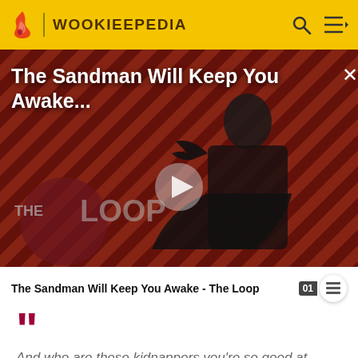WOOKIEEPEDIA
[Figure (screenshot): Video thumbnail for 'The Sandman Will Keep You Awake...' showing a figure in black robes against a red diagonal striped background, with a play button overlay and 'THE LOOP' logo in the lower left.]
The Sandman Will Keep You Awake - The Loop
And who are these kidnappers you're so good at